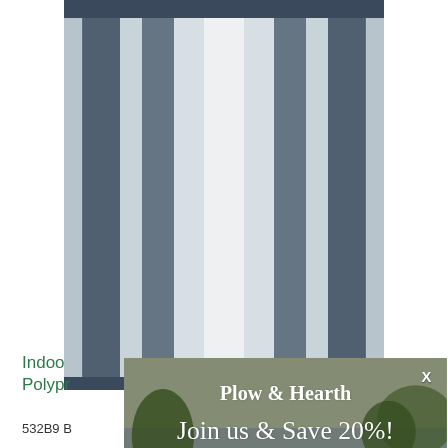[Figure (photo): Blue and white striped braided rug shown from above, partially visible, with a vertical stripe pattern in navy/white]
[Figure (screenshot): Plow & Hearth email signup modal overlay with outdoor lifestyle background image showing people on a patio near water. Contains logo 'Plow & Hearth', headline 'Join us & Save 20%!', subtext 'on your first order*', email input field, orange submit button with arrow, footnote '*New subscribers only. Can't be combined with other offers.', and X close button.]
Indoor Outdoor Rug
Polypropylene
532B9 B